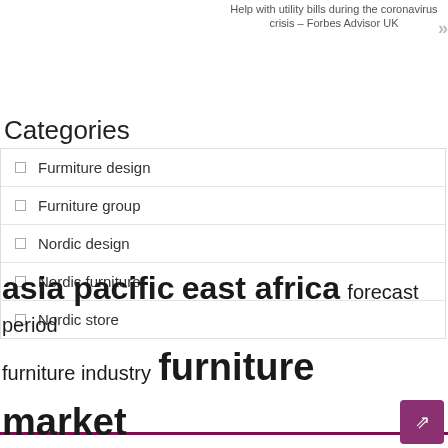Help with utility bills during the coronavirus crisis – Forbes Advisor UK
Categories
Furmiture design
Furniture group
Nordic design
Nordic furniture
Nordic store
asia pacific  east africa  forecast period  furniture industry  furniture market  germany  france  growth rate  interior design  latin america  living room  long term  market report  market research